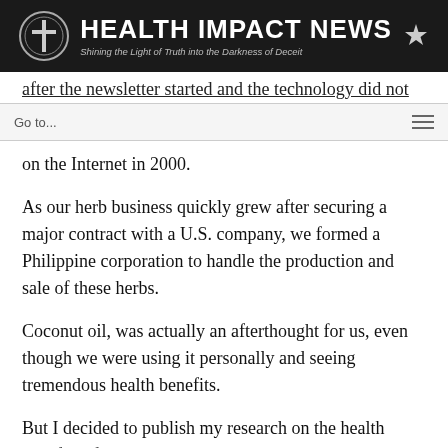HEALTH IMPACT NEWS — Shining the Light of Truth into the Darkness of Deceit
on the Internet in 2000.
As our herb business quickly grew after securing a major contract with a U.S. company, we formed a Philippine corporation to handle the production and sale of these herbs.
Coconut oil, was actually an afterthought for us, even though we were using it personally and seeing tremendous health benefits.
But I decided to publish my research on the health benefits of coconut oil, citing peer-reviewed literature on the medium chain fatty acids found in coconut oil, particularly lauric acid, which is most abundantly found in nature in coconut oil. Human breast milk is a distance second for this natural,